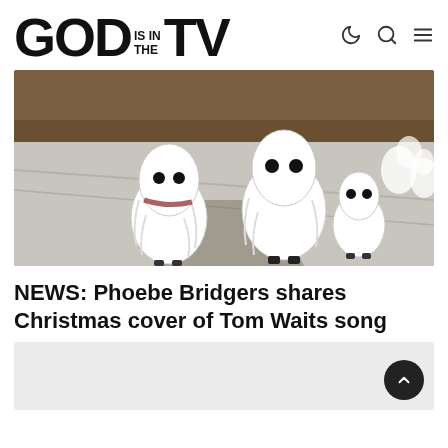GOD IS IN THE TV
[Figure (illustration): Painting of several figures dressed as white ghosts with black eyes, standing on a snowy or grey outdoor surface, with a dark wooden fence or railing in the background.]
NEWS: Phoebe Bridgers shares Christmas cover of Tom Waits song